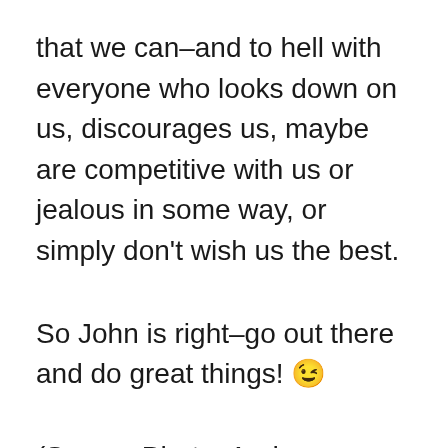that we can–and to hell with everyone who looks down on us, discourages us, maybe are competitive with us or jealous in some way, or simply don't wish us the best.
So John is right–go out there and do great things! 😉
(Source Photo: Andy Blumenthal)